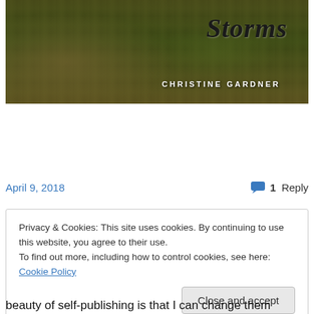[Figure (photo): Book cover showing a vineyard/orchard scene with trees in rows. Script title text at top right and author name 'CHRISTINE GARDNER' in white capitals at bottom right.]
April 9, 2018
💬 1 Reply
Privacy & Cookies: This site uses cookies. By continuing to use this website, you agree to their use.
To find out more, including how to control cookies, see here: Cookie Policy
[Close and accept button]
beauty of self-publishing is that I can change them